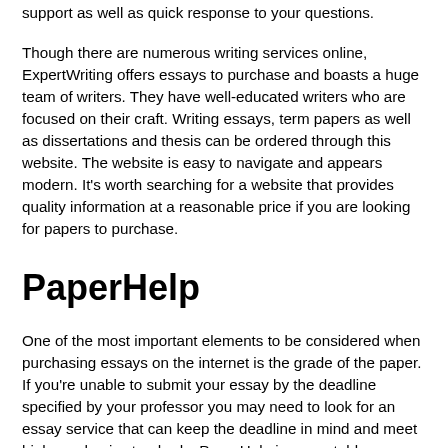support as well as quick response to your questions.
Though there are numerous writing services online, ExpertWriting offers essays to purchase and boasts a huge team of writers. They have well-educated writers who are focused on their craft. Writing essays, term papers as well as dissertations and thesis can be ordered through this website. The website is easy to navigate and appears modern. It's worth searching for a website that provides quality information at a reasonable price if you are looking for papers to purchase.
PaperHelp
One of the most important elements to be considered when purchasing essays on the internet is the grade of the paper. If you're unable to submit your essay by the deadline specified by your professor you may need to look for an essay service that can keep the deadline in mind and meet high academic standards. PaperHelp is a reputable